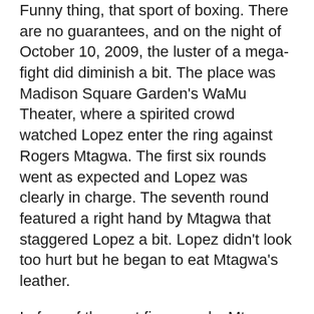Funny thing, that sport of boxing. There are no guarantees, and on the night of October 10, 2009, the luster of a mega-fight did diminish a bit. The place was Madison Square Garden's WaMu Theater, where a spirited crowd watched Lopez enter the ring against Rogers Mtagwa. The first six rounds went as expected and Lopez was clearly in charge. The seventh round featured a right hand by Mtagwa that staggered Lopez a bit. Lopez didn't look too hurt but he began to eat Mtagwa's leather.
In four of the next five rounds, Mtagwa put the Lopez/Gamboa match-up in serious jeopardy as he gave Lopez a serious beating during their exchanges. Lopez miraculously survived the twelfth round and gutted out a decision victory. News out of the Lopez camp was that JuanMa had problems making weight, and that he'd move up to 126 pounds.